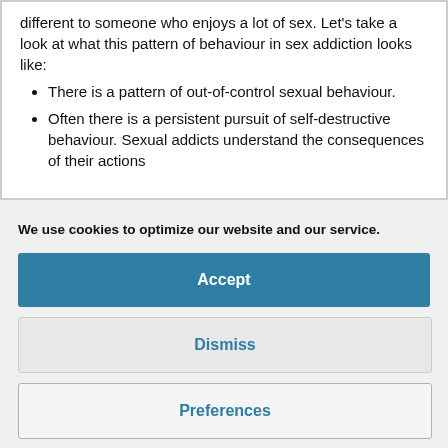different to someone who enjoys a lot of sex. Let's take a look at what this pattern of behaviour in sex addiction looks like:
There is a pattern of out-of-control sexual behaviour.
Often there is a persistent pursuit of self-destructive behaviour. Sexual addicts understand the consequences of their actions
We use cookies to optimize our website and our service.
Accept
Dismiss
Preferences